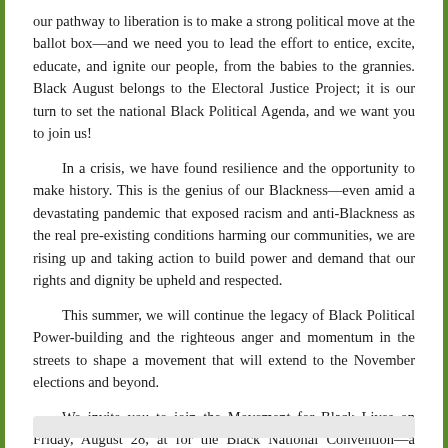our pathway to liberation is to make a strong political move at the ballot box—and we need you to lead the effort to entice, excite, educate, and ignite our people, from the babies to the grannies. Black August belongs to the Electoral Justice Project; it is our turn to set the national Black Political Agenda, and we want you to join us!
In a crisis, we have found resilience and the opportunity to make history. This is the genius of our Blackness—even amid a devastating pandemic that exposed racism and anti-Blackness as the real pre-existing conditions harming our communities, we are rising up and taking action to build power and demand that our rights and dignity be upheld and respected.
This summer, we will continue the legacy of Black Political Power-building and the righteous anger and momentum in the streets to shape a movement that will extend to the November elections and beyond.
We invite you to join the Movement for Black Lives on Friday, August 28, at for the Black National Convention—a primetime event in celebration of Black Culture, Black Political Power-building, and a public policy agenda that will set forth an affirmative vision for Black Lives.